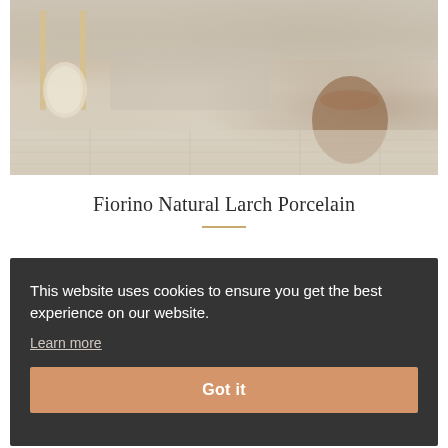[Figure (photo): Interior room photo showing light wood-look porcelain floor tiles with furniture legs, a woven basket bag, and wicker baskets in the background]
Fiorino Natural Larch Porcelain
This website uses cookies to ensure you get the best experience on our website.
Learn more
Got it